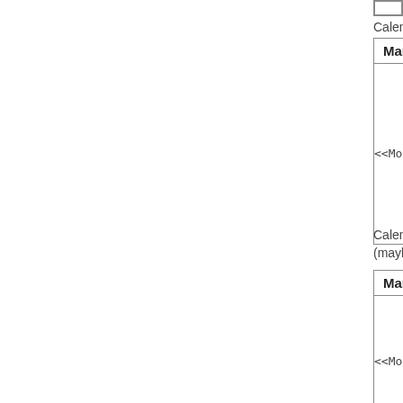Calendar of December, 2001:
| Markup | Result |
| --- | --- |
| <<MonthCalendar(,2001,12)>> | [calendar widget December 2001] |
Calendar of the month two months after December, 2001 (maybe doesn't make much sense, but is possible):
| Markup | Result |
| --- | --- |
| <<MonthCalendar(,2001,12,+2)>> | [calendar widget February 2002] |